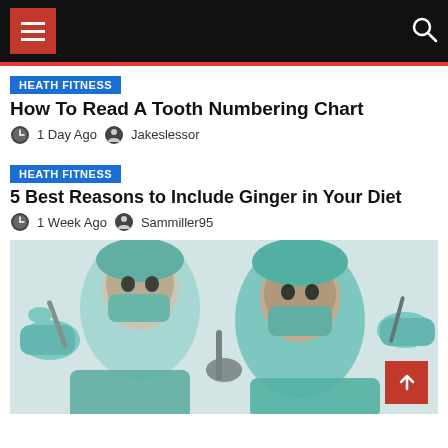Navigation bar with menu and search
HEATH FITNESS
How To Read A Tooth Numbering Chart
1 Day Ago  Jakeslessor
HEATH FITNESS
5 Best Reasons to Include Ginger in Your Diet
1 Week Ago  Sammiller95
[Figure (photo): Medical/surgical team viewed from below, wearing teal scrubs and masks, performing a procedure with dental/surgical tools visible. Upward angle shot showing two surgeons' faces and gloved hands holding instruments.]